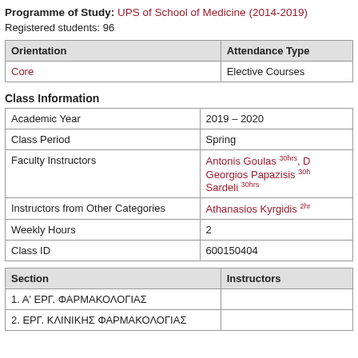Programme of Study: UPS of School of Medicine (2014-2019)
Registered students: 96
| Orientation | Attendance Type |
| --- | --- |
| Core | Elective Courses |
Class Information
| Academic Year | 2019 – 2020 |
| Class Period | Spring |
| Faculty Instructors | Antonis Goulas 30hrs, D Georgios Papazisis 30hrs Sardeli 30hrs |
| Instructors from Other Categories | Athanasios Kyrgidis 2hrs |
| Weekly Hours | 2 |
| Class ID | 600150404 |
| Section | Instructors |
| --- | --- |
| 1. Α' ΕΡΓ. ΦΑΡΜΑΚΟΛΟΓΙΑΣ |  |
| 2. ΕΡΓ. ΚΛΙΝΙΚΗΣ ΦΑΡΜΑΚΟΛΟΓΙΑΣ |  |